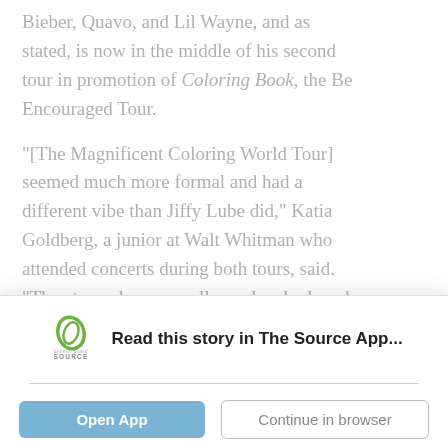Bieber, Quavo, and Lil Wayne, and as stated, is now in the middle of his second tour in promotion of Coloring Book, the Be Encouraged Tour.

"[The Magnificent Coloring World Tour] seemed much more formal and had a different vibe than Jiffy Lube did," Katia Goldberg, a junior at Walt Whitman who attended concerts during both tours, said. "The atmosphere was all people who loved Chance, when I feel like at Jiffy Lube it was a lot of
Read this story in The Source App...
Open App
Continue in browser